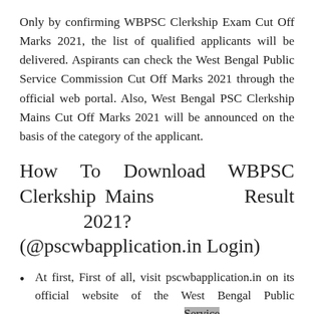Only by confirming WBPSC Clerkship Exam Cut Off Marks 2021, the list of qualified applicants will be delivered. Aspirants can check the West Bengal Public Service Commission Cut Off Marks 2021 through the official web portal. Also, West Bengal PSC Clerkship Mains Cut Off Marks 2021 will be announced on the basis of the category of the applicant.
How To Download WBPSC Clerkship Mains Result 2021? (@pscwbapplication.in Login)
At first, First of all, visit pscwbapplication.in on its official website of the West Bengal Public Service Commission www.pscwbapplication.in
Here you have to click on the section of the